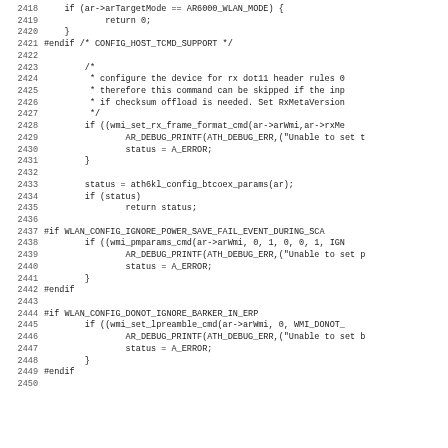[Figure (other): Source code listing showing lines 2418-2450 of a C/C++ file related to wireless driver configuration (ath6kl). Code includes preprocessor directives (#endif, #if), function calls (wmi_set_rx_frame_format_cmd, ath6kl_config_btcoex_params, wmi_pmparams_cmd, wmi_set_lpreamble_cmd), debug print statements, and error handling.]